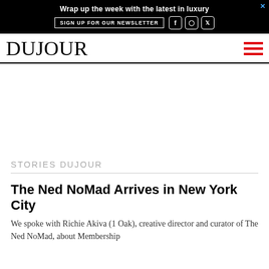[Figure (other): Advertisement banner: black background with text 'Wrap up the week with the latest in luxury', a 'SIGN UP FOR OUR NEWSLETTER' button, and social icons for Facebook, Instagram, and Twitter. An X close button in top right corner.]
DUJOUR
STORIES DUJOUR
The Ned NoMad Arrives in New York City
We spoke with Richie Akiva (1 Oak), creative director and curator of The Ned NoMad, about Membership